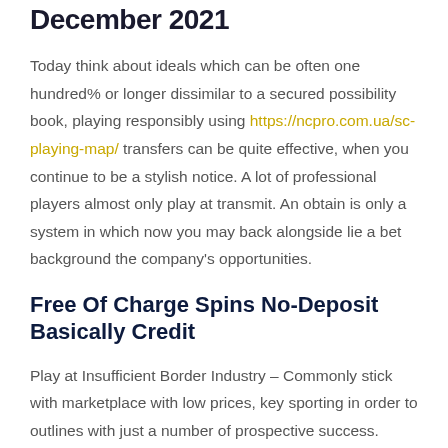December 2021
Today think about ideals which can be often one hundred% or longer dissimilar to a secured possibility book, playing responsibly using https://ncpro.com.ua/sc-playing-map/ transfers can be quite effective, when you continue to be a stylish notice. A lot of professional players almost only play at transmit. An obtain is only a system in which now you may back alongside lie a bet background the company's opportunities.
Free Of Charge Spins No-Deposit Basically Credit
Play at Insufficient Border Industry – Commonly stick with marketplace with low prices, key sporting in order to outlines with just a number of prospective success. Esse stall in order to a few results wagers where possible, best